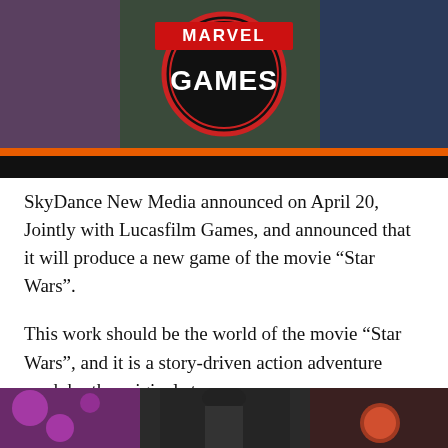[Figure (photo): Marvel Games promotional banner image showing game characters and the text 'GAMES' in white letters on a circular logo, with an orange stripe below and a dark/black lower section]
SkyDance New Media announced on April 20, Jointly with Lucasfilm Games, and announced that it will produce a new game of the movie “Star Wars”.
This work should be the world of the movie “Star Wars”, and it is a story-driven action adventure work by the original story.
[Figure (photo): Bottom partial image showing characters or people, appears to be a game or movie promotional photo]